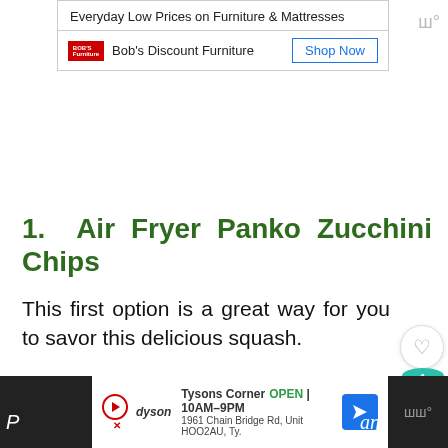[Figure (screenshot): Bob's Discount Furniture ad banner with text 'Everyday Low Prices on Furniture & Mattresses', Bob's logo, and 'Shop Now' button]
1. Air Fryer Panko Zucchini Chips
This first option is a great way for you to savor this delicious squash.
It only needs a few ingredients, and they taste very close to their deep-fried counterparts.
[Figure (screenshot): Bottom advertisement: Dyson at Tysons Corner, OPEN 10AM-9PM, 1961 Chain Bridge Rd, Unit HOO2AU, Ty.]